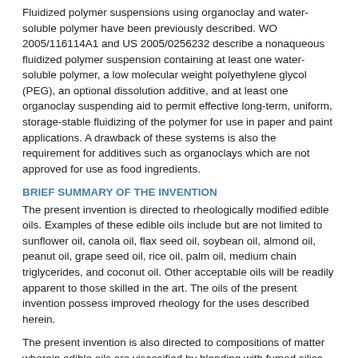Fluidized polymer suspensions using organoclay and water-soluble polymer have been previously described. WO 2005/116114A1 and US 2005/0256232 describe a nonaqueous fluidized polymer suspension containing at least one water-soluble polymer, a low molecular weight polyethylene glycol (PEG), an optional dissolution additive, and at least one organoclay suspending aid to permit effective long-term, uniform, storage-stable fluidizing of the polymer for use in paper and paint applications. A drawback of these systems is also the requirement for additives such as organoclays which are not approved for use as food ingredients.
BRIEF SUMMARY OF THE INVENTION
The present invention is directed to rheologically modified edible oils. Examples of these edible oils include but are not limited to sunflower oil, canola oil, flax seed oil, soybean oil, almond oil, peanut oil, grape seed oil, rice oil, palm oil, medium chain triglycerides, and coconut oil. Other acceptable oils will be readily apparent to those skilled in the art. The oils of the present invention possess improved rheology for the uses described herein.
The present invention is also directed to compositions of matter wherein edible oils are viscosified by blending with fumed silica and water. When the fumed silica is about 1 to about 5% basis total weight, the edible oil rheology is sufficient to suspend particulates such as xanthan gum, but